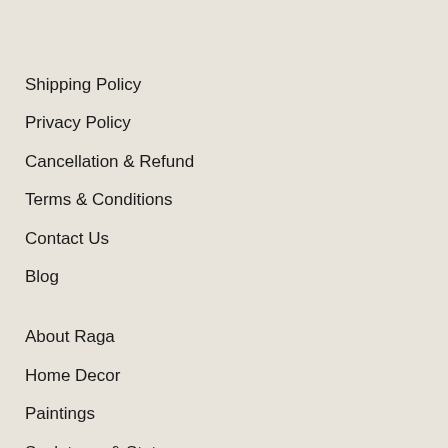Shipping Policy
Privacy Policy
Cancellation & Refund
Terms & Conditions
Contact Us
Blog
About Raga
Home Decor
Paintings
Sculptures & Statues